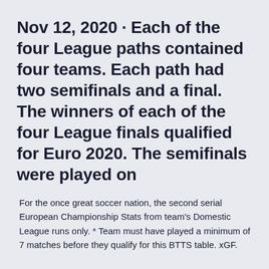Nov 12, 2020 · Each of the four League paths contained four teams. Each path had two semifinals and a final. The winners of each of the four League finals qualified for Euro 2020. The semifinals were played on
For the once great soccer nation, the second serial European Championship Stats from team's Domestic League runs only. * Team must have played a minimum of 7 matches before they qualify for this BTTS table. xGF.